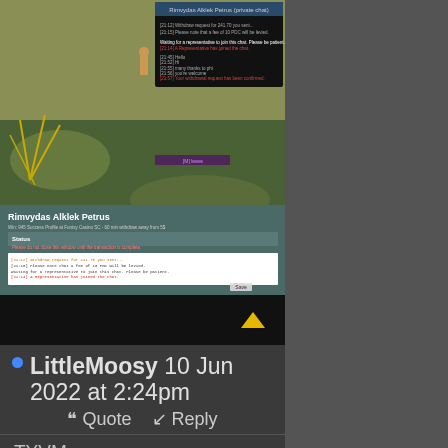[Figure (screenshot): Game screenshot showing a character named Rimvydas Alklek Petrus in a desert environment with a chat/support overlay window open showing a withdrawal request conversation]
LittleMoosy 10 Jun 2022 at 2:24pm
Quote  Reply
TYVM
Rimvydas Alklek